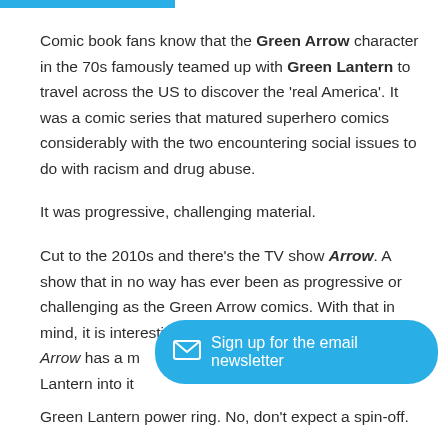Comic book fans know that the Green Arrow character in the 70s famously teamed up with Green Lantern to travel across the US to discover the 'real America'. It was a comic series that matured superhero comics considerably with the two encountering social issues to do with racism and drug abuse.

It was progressive, challenging material.

Cut to the 2010s and there's the TV show Arrow. A show that in no way has ever been as progressive or challenging as the Green Arrow comics. With that in mind, it is interesting to see that the series finale of Arrow has a m[...] Lantern into it[...]

Green Lantern power ring. No, don't expect a spin-off.